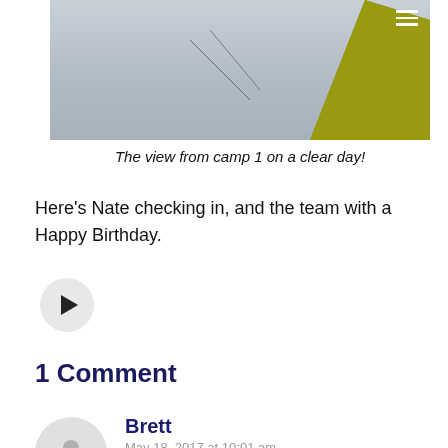[Figure (photo): A photo showing a snowy landscape with a yellow/olive tent visible on the right side, and a hamburger menu icon in the top-right corner.]
The view from camp 1 on a clear day!
Here's Nate checking in, and the team with a Happy Birthday.
[Figure (other): A circular play button (media player control) with a play triangle icon.]
1 Comment
Brett
May 18, 2017 at 10:01 am
Hey Rusty. Take enough beef jerky up that hill,